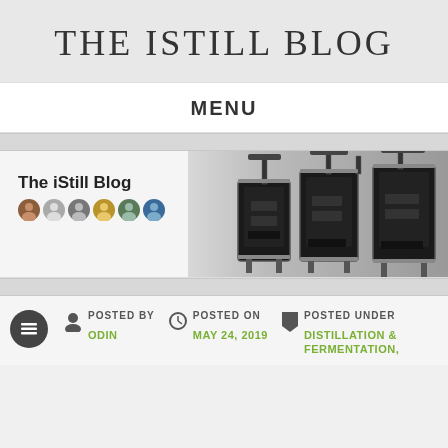THE ISTILL BLOG
MENU
[Figure (screenshot): The iStill Blog banner with blog title text, six circular avatar images, and a photo of black distillation still equipment on the right side]
POSTED BY
ODIN
POSTED ON
MAY 24, 2019
POSTED UNDER
DISTILLATION & FERMENTATION,